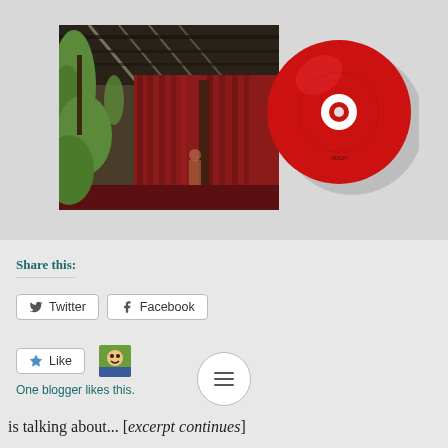[Figure (photo): Album cover art showing an indoor venue with red curtains, trees, industrial ceiling with lights, and a red CD disc overlaid on the right side]
Share this:
Twitter   Facebook
Like
One blogger likes this.
is talking about... [partial text cut off at bottom]